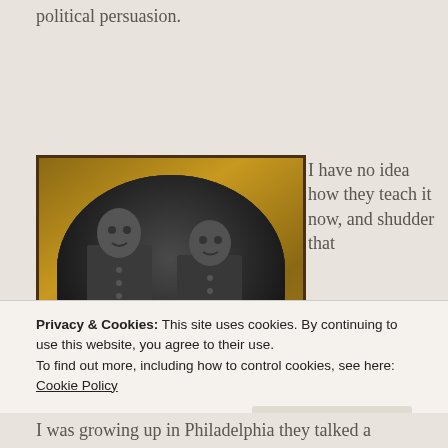political persuasion.
[Figure (photo): Antique oval-framed photograph of two Civil War era soldiers in uniform, set in an ornate gold frame with dark border. Black and white / sepia toned image.]
I have no idea how they teach it now, and shudder that
Privacy & Cookies: This site uses cookies. By continuing to use this website, you agree to their use.
To find out more, including how to control cookies, see here:
Cookie Policy
Close and accept
I was growing up in Philadelphia they talked a